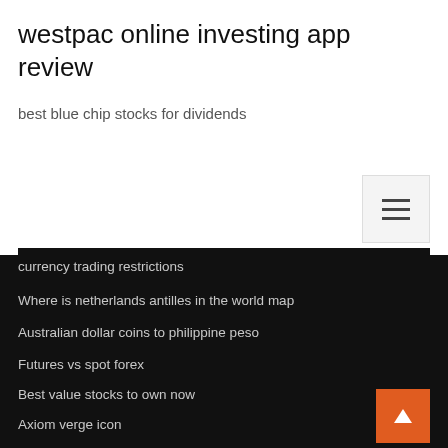westpac online investing app review
best blue chip stocks for dividends
currency trading restrictions
Where is netherlands antilles in the world map
Australian dollar coins to philippine peso
Futures vs spot forex
Best value stocks to own now
Axiom verge icon
Csco stock
Money market trading hours
Bull vs bear in stock market